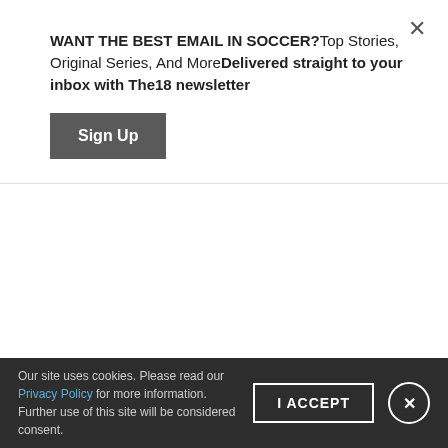WANT THE BEST EMAIL IN SOCCER?Top Stories, Original Series, And MoreDelivered straight to your inbox with The18 newsletter
Sign Up
ADVERTISEMENT
TRENDING ON THE18
Our site uses cookies. Please read our Privacy Policy for more information. Further use of this site will be considered consent.
I ACCEPT